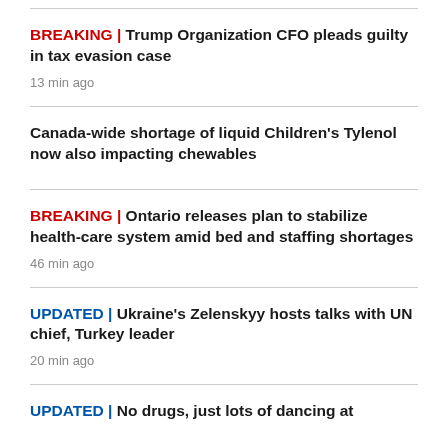BREAKING | Trump Organization CFO pleads guilty in tax evasion case
13 min ago
Canada-wide shortage of liquid Children's Tylenol now also impacting chewables
BREAKING | Ontario releases plan to stabilize health-care system amid bed and staffing shortages
46 min ago
UPDATED | Ukraine's Zelenskyy hosts talks with UN chief, Turkey leader
20 min ago
UPDATED | No drugs, just lots of dancing at